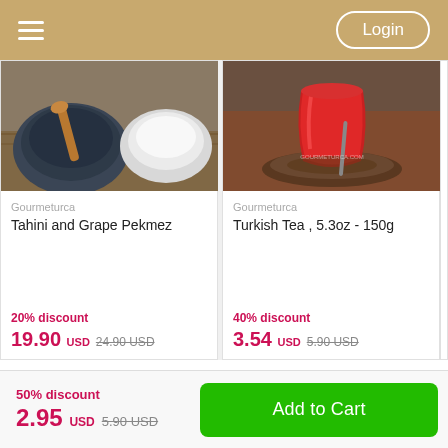Login
[Figure (photo): Product photo of Tahini and Grape Pekmez - bowls with wooden spoon on wooden surface]
Gourmeturca
Tahini and Grape Pekmez
20% discount
19.90 USD  24.90 USD
[Figure (photo): Product photo of Turkish Tea in red glass cup on saucer, with gourmeturca.com watermark]
Gourmeturca
Turkish Tea , 5.3oz - 150g
40% discount
3.54 USD  5.90 USD
50% discount
2.95 USD  5.90 USD
Add to Cart